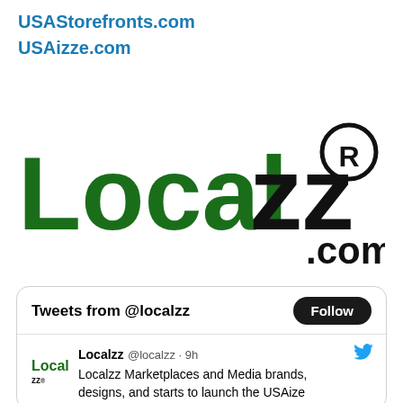USAStorefronts.com
USAizze.com
[Figure (logo): Localzz.com logo — 'Local' in dark green bold letters, 'zz' in black bold letters, with a registered trademark symbol, and '.com' appended in black]
[Figure (screenshot): Twitter/X widget showing 'Tweets from @localzz' header with a Follow button, and a tweet from Localzz @localzz · 9h: 'Localzz Marketplaces and Media brands, designs, and starts to launch the USAize']